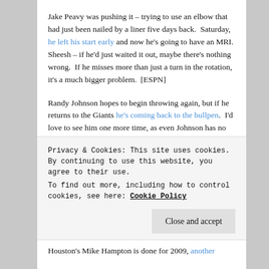Jake Peavy was pushing it – trying to use an elbow that had just been nailed by a liner five days back. Saturday, he left his start early and now he's going to have an MRI. Sheesh – if he'd just waited it out, maybe there's nothing wrong. If he misses more than just a turn in the rotation, it's a much bigger problem. [ESPN]
Randy Johnson hopes to begin throwing again, but if he returns to the Giants he's coming back to the bullpen. I'd love to see him one more time, as even Johnson has no idea if he's got a 2010 season in him. [ESPN]
Boston's Tim Wakefield took a cortisone shot to relieve pain in his back, but it will be a few days before it will be
Privacy & Cookies: This site uses cookies. By continuing to use this website, you agree to their use.
To find out more, including how to control cookies, see here: Cookie Policy
Houston's Mike Hampton is done for 2009, another